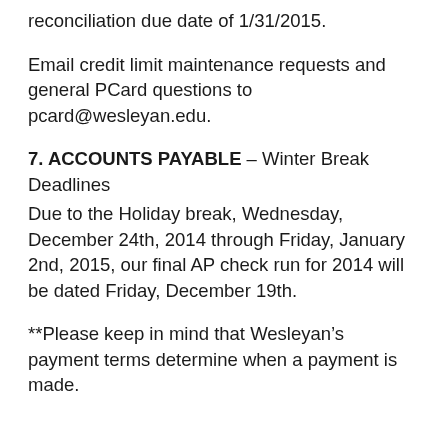reconciliation due date of 1/31/2015.
Email credit limit maintenance requests and general PCard questions to pcard@wesleyan.edu.
7. ACCOUNTS PAYABLE – Winter Break Deadlines
Due to the Holiday break, Wednesday, December 24th, 2014 through Friday, January 2nd, 2015, our final AP check run for 2014 will be dated Friday, December 19th.
**Please keep in mind that Wesleyan’s payment terms determine when a payment is made.